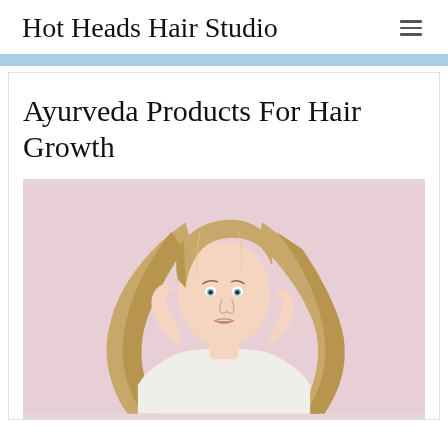Hot Heads Hair Studio
Ayurveda Products For Hair Growth
[Figure (photo): A young woman with long, wavy blonde hair wearing a white top, posing against a pink background, touching her hair with both hands.]